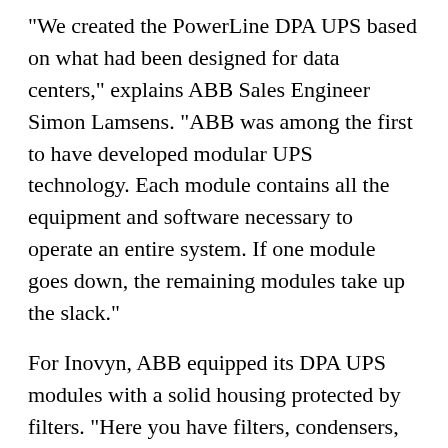“We created the PowerLine DPA UPS based on what had been designed for data centers,” explains ABB Sales Engineer Simon Lamsens. “ABB was among the first to have developed modular UPS technology. Each module contains all the equipment and software necessary to operate an entire system. If one module goes down, the remaining modules take up the slack.”
For Inovyn, ABB equipped its DPA UPS modules with a solid housing protected by filters. “Here you have filters, condensers, fans and more that make up a system enabling the UPS to last 10 to 15 years” Lamsens says.
Inovyn integrated two units--each with four of the newly invented PowerLine DPA units--into its system to support two electrical networks, and Henveaux is proud of the serial numbers on his trailblazing UPS devices. “We have numbers 4 and 5,” he proclaims. “We wanted equipment that was top-of-the-range